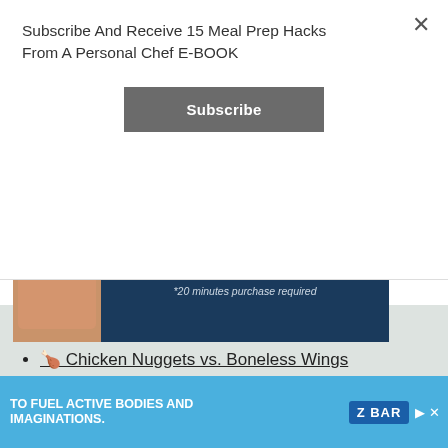Subscribe And Receive 15 Meal Prep Hacks From A Personal Chef E-BOOK
Subscribe
[Figure (infographic): Dark blue ad banner showing a hand holding a card with a orange 'Sign up now' button and text '*20 minutes purchase required']
Table of Contents
🍗 Chicken Nuggets vs. Boneless Wings
[Figure (infographic): Bottom advertisement banner with blue background, child eating, text 'TO FUEL ACTIVE BODIES AND IMAGINATIONS.' and ZBAR logo]